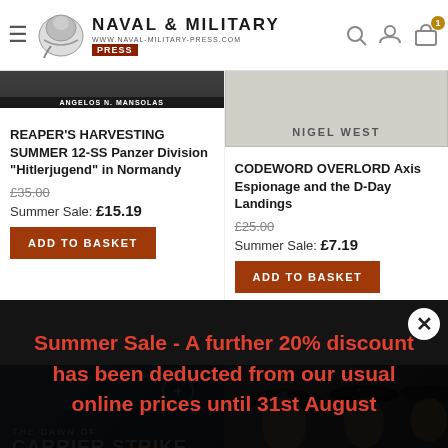Naval & Military Press — www.naval-military-press.com
[Figure (screenshot): Book cover: REAPER'S HARVESTING SUMMER 12-SS Panzer Division Hitlerjugend in Normandy, by Angelos N. Mansolas]
REAPER'S HARVESTING SUMMER 12-SS Panzer Division "Hitlerjugend" in Normandy
£35.00
Summer Sale: £15.19
[Figure (screenshot): Book cover: CODEWORD OVERLORD Axis Espionage and the D-Day Landings, by Nigel West]
CODEWORD OVERLORD Axis Espionage and the D-Day Landings
£25.00
Summer Sale: £7.19
[Figure (screenshot): Book cover: THE DAWN OF CARRIER STRIKE]
[Figure (photo): Photo of German military officers in caps]
Summer Sale - A further 20% discount has been deducted from our usual online prices until 31st August